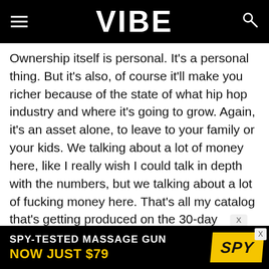VIBE
Ownership itself is personal. It's a personal thing. But it's also, of course it'll make you richer because of the state of what hip hop industry and where it's going to grow. Again, it's an asset alone, to leave to your family or your kids. We talking about a lot of money here, like I really wish I could talk in depth with the numbers, but we talking about a lot of fucking money here. That's all my catalog that's getting produced on the 30-day turnaround. And when you break it down to monthly or quarterly or annually… what you talking about motherfuckers being straight? Hopefully forever.
[Figure (infographic): Advertisement banner: SPY-TESTED MASSAGE GUN NOW JUST $79 with SPY logo on yellow background]